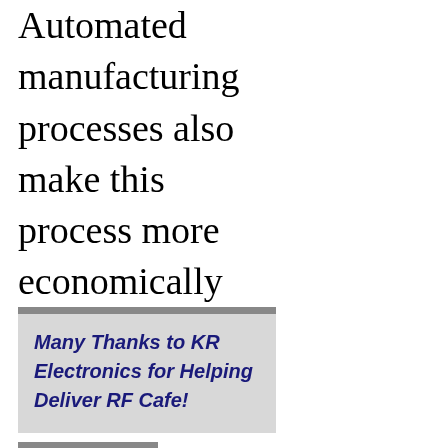Automated manufacturing processes also make this process more economically attractive..."
Many Thanks to KR Electronics for Helping Deliver RF Cafe!